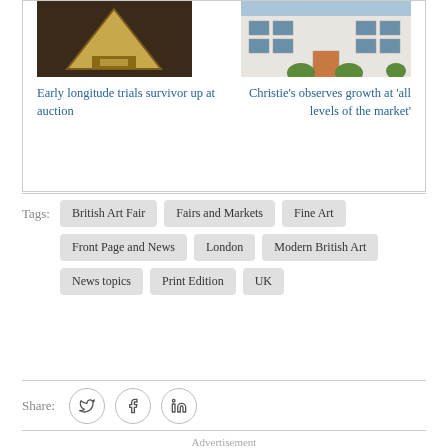[Figure (photo): Image of a triangular wooden artifact on dark background — longitude trial instrument]
Early longitude trials survivor up at auction
[Figure (photo): Image of a white Georgian building exterior with potted plants and orange door]
Christie's observes growth at 'all levels of the market'
British Art Fair
Fairs and Markets
Fine Art
Front Page and News
London
Modern British Art
News topics
Print Edition
UK
Share:
Advertisement